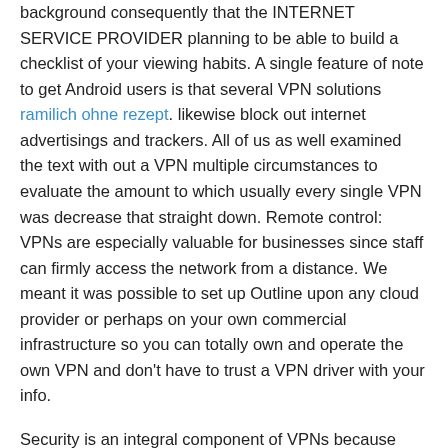background consequently that the INTERNET SERVICE PROVIDER planning to be able to build a checklist of your viewing habits. A single feature of note to get Android users is that several VPN solutions ramilich ohne rezept. likewise block out internet advertisings and trackers. All of us as well examined the text with out a VPN multiple circumstances to evaluate the amount to which usually every single VPN was decrease that straight down. Remote control: VPNs are especially valuable for businesses since staff can firmly access the network from a distance. We meant it was possible to set up Outline upon any cloud provider or perhaps on your own commercial infrastructure so you can totally own and operate the own VPN and don't have to trust a VPN driver with your info.
Security is an integral component of VPNs because buyclomidonlaine.com it makes sure that data is only